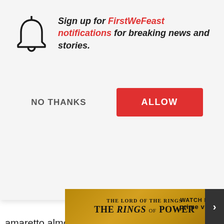[Figure (screenshot): Browser notification permission popup on FirstWeFeast website. Contains a bell icon, italic bold text 'Sign up for FirstWeFeast notifications for breaking news and stories.' with 'FirstWeFeast notifications' in red, two buttons: 'NO THANKS' (gray text) and 'ALLOW' (red button). Below the popup, partially visible article text reads 'amaretto almond', 'flavor profile rema', 'was invented by D', 'the Gold Mine Sal'. A 'Brandy Blazer' section header is visible at the bottom left. An Amazon Prime Video 'The Lord of the Rings: The Rings of Power' ad banner appears at the bottom.]